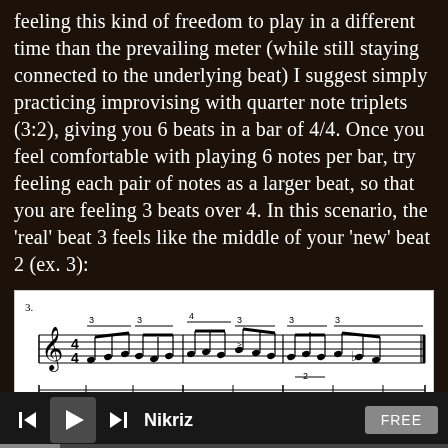feeling this kind of freedom to play in a different time than the prevailing meter (while still staying connected to the underlying beat) I suggest simply practicing improvising with quarter note triplets (3:2), giving you 6 beats in a bar of 4/4. Once you feel comfortable with playing 6 notes per bar, try feeling each pair of notes as a larger beat, so that you are feeling 3 beats over 4. In this scenario, the 'real' beat 3 feels like the middle of your 'new' beat 2 (ex. 3):
[Figure (illustration): Musical notation example labeled '3.' showing a bar of music with quarter note triplets (3:2) demonstrating 3 beats over 4, with rhythm notation and beat markers below the staff.]
Nikriz   FREE